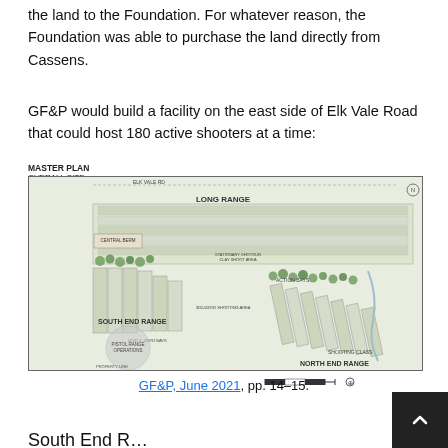the land to the Foundation. For whatever reason, the Foundation was able to purchase the land directly from Cassens.
GF&P would build a facility on the east side of Elk Vale Road that could host 180 active shooters at a time:
MASTER PLAN
OVERALL SITE
[Figure (map): Master plan overview map showing a shooting range facility layout with Long Range at top, South End Range at lower left, North End Range at lower right, Central Berm, Stationary Shotgun Clay Shoot Area, Action Bays, and Pistol Range operations. Trees and landscaping indicated along boundaries. Property along Elk Vale Road.]
GF&P, June 2021, pp. 14–15.
South End R...